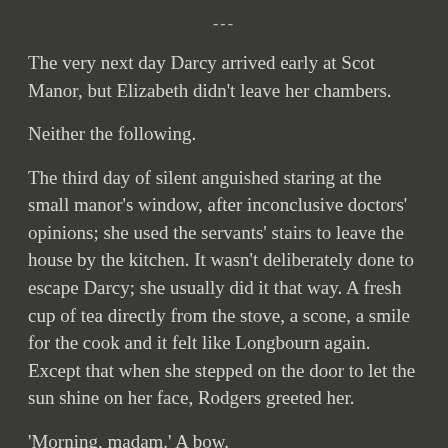---
The very next day Darcy arrived early at Scot Manor, but Elizabeth didn’t leave her chambers.
Neither the following.
The third day of silent anguished staring at the small manor’s window, after inconclusive doctors’ opinions; she used the servants’ stairs to leave the house by the kitchen. It wasn’t deliberately done to escape Darcy; she usually did it that way. A fresh cup of tea directly from the stove, a scone, a smile for the cook and it felt like Longbourn again. Except that when she stepped on the door to let the sun shine on her face, Rodgers greeted her.
‘Morning, madam.’ A bow.
‘Morning Mr. Rodgers. Guard duties?’